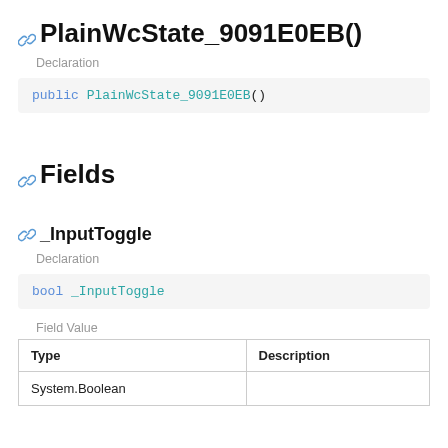PlainWcState_9091E0EB()
Declaration
public PlainWcState_9091E0EB()
Fields
_InputToggle
Declaration
bool _InputToggle
Field Value
| Type | Description |
| --- | --- |
| System.Boolean |  |